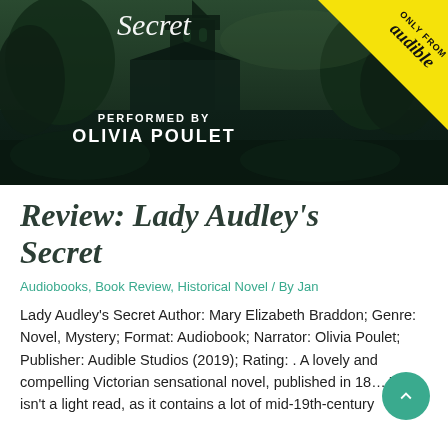[Figure (photo): Audiobook cover image for Lady Audley's Secret – dark green-tinted photo of a Gothic church building with trees. Text overlay reads 'Secret', 'PERFORMED BY', 'OLIVIA POULET'. Yellow diagonal banner in top-right corner reads 'ONLY FROM audible'.]
Review: Lady Audley's Secret
Audiobooks, Book Review, Historical Novel / By Jan
Lady Audley's Secret Author: Mary Elizabeth Braddon; Genre: Novel, Mystery; Format: Audiobook; Narrator: Olivia Poulet; Publisher: Audible Studios (2019); Rating: . A lovely and compelling Victorian sensational novel, published in 18… This isn't a light read, as it contains a lot of mid-19th-century